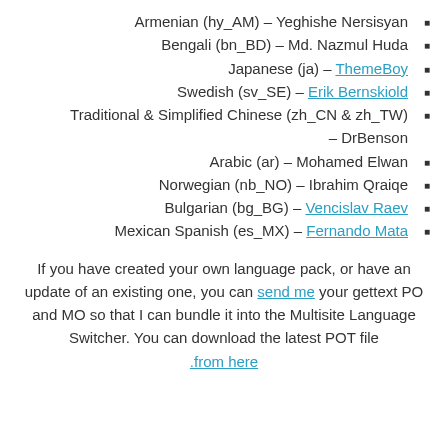Armenian (hy_AM) – Yeghishe Nersisyan
Bengali (bn_BD) – Md. Nazmul Huda
Japanese (ja) – ThemeBoy
Swedish (sv_SE) – Erik Bernskiold
Traditional & Simplified Chinese (zh_CN & zh_TW) – DrBenson
Arabic (ar) – Mohamed Elwan
Norwegian (nb_NO) – Ibrahim Qraiqe
Bulgarian (bg_BG) – Vencislav Raev
Mexican Spanish (es_MX) – Fernando Mata
If you have created your own language pack, or have an update of an existing one, you can send me your gettext PO and MO so that I can bundle it into the Multisite Language Switcher. You can download the latest POT file .from here